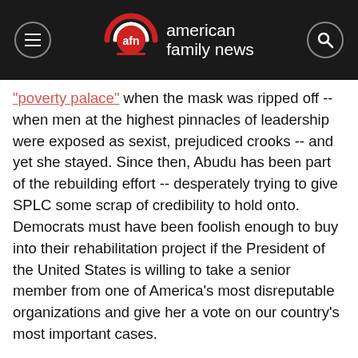american family news
"poverty palace" when the mask was ripped off -- when men at the highest pinnacles of leadership were exposed as sexist, prejudiced crooks -- and yet she stayed. Since then, Abudu has been part of the rebuilding effort -- desperately trying to give SPLC some scrap of credibility to hold onto. Democrats must have been foolish enough to buy into their rehabilitation project if the President of the United States is willing to take a senior member from one of America's most disreputable organizations and give her a vote on our country's most important cases.
And while the SPLC's phony overhaul might have duped the media, the reality is, they're still the same old SPLC -- demonizing opponents, inciting violence, and attacking perfectly decent human beings like Ben Carson, a man they once labeled an "extremist." Abudu has been at the helm of that work where election subversion is concerned, spending her days fighting